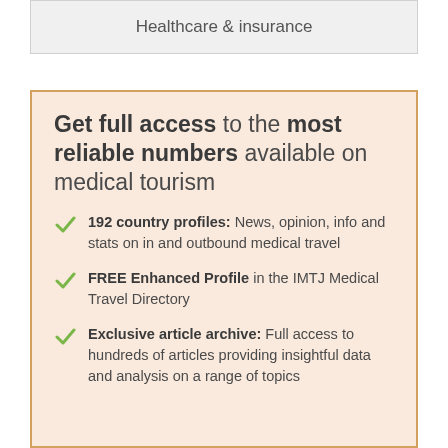Healthcare & insurance
Get full access to the most reliable numbers available on medical tourism
192 country profiles: News, opinion, info and stats on in and outbound medical travel
FREE Enhanced Profile in the IMTJ Medical Travel Directory
Exclusive article archive: Full access to hundreds of articles providing insightful data and analysis on a range of topics